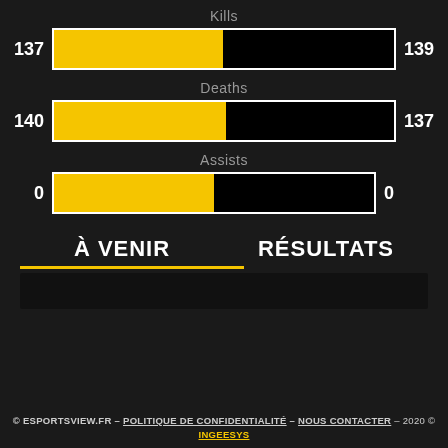[Figure (grouped-bar-chart): Kills]
[Figure (grouped-bar-chart): Deaths]
[Figure (grouped-bar-chart): Assists]
À VENIR
RÉSULTATS
© ESPORTSVIEW.FR – POLITIQUE DE CONFIDENTIALITÉ – NOUS CONTACTER – 2020 © INGEESYS